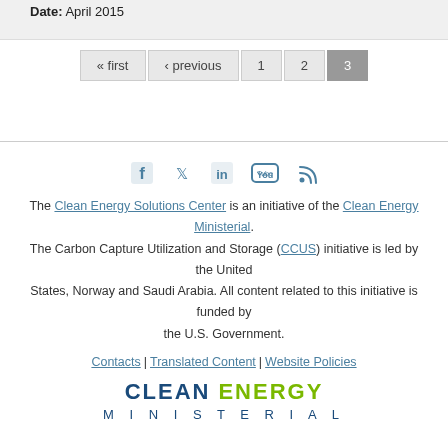Date: April 2015
« first ‹ previous 1 2 3
The Clean Energy Solutions Center is an initiative of the Clean Energy Ministerial. The Carbon Capture Utilization and Storage (CCUS) initiative is led by the United States, Norway and Saudi Arabia. All content related to this initiative is funded by the U.S. Government.
Contacts | Translated Content | Website Policies
[Figure (logo): Clean Energy Ministerial logo with CLEAN in dark blue, ENERGY in green, MINISTERIAL in dark blue below]